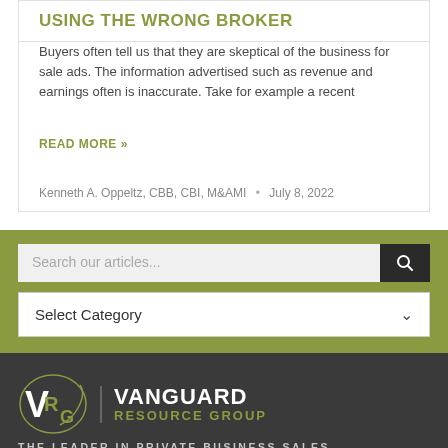USING THE WRONG BROKER
Buyers often tell us that they are skeptical of the business for sale ads. The information advertised such as revenue and earnings often is inaccurate. Take for example a recent
READ MORE »
Kenneth A. Oppeltz, CBB, CBI, M&AMI  •  July 8, 2022
Search our articles...
Select Category
[Figure (logo): Vanguard Resource Group logo with VRG monogram and tagline THE LEADER IN PRIVATE BUSINESS SALES]